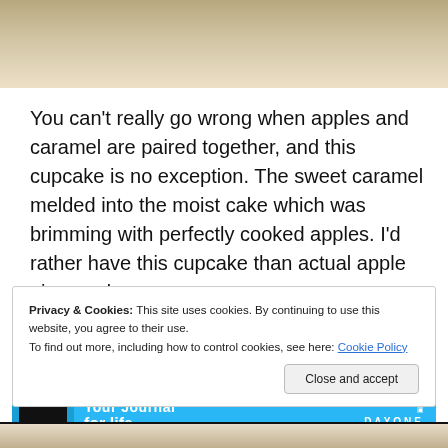[Figure (photo): Top portion of a food photo, likely a cupcake or apple dessert, cropped at top of page]
You can’t really go wrong when apples and caramel are paired together, and this cupcake is no exception. The sweet caramel melded into the moist cake which was brimming with perfectly cooked apples. I’d rather have this cupcake than actual apple pie any day.
[Figure (screenshot): Advertisement banner for Day One app: Your Journal for life, DAYONE branding on blue background]
Privacy & Cookies: This site uses cookies. By continuing to use this website, you agree to their use.
To find out more, including how to control cookies, see here: Cookie Policy
Close and accept
[Figure (photo): Bottom portion of food photo appearing at the very bottom of the page]